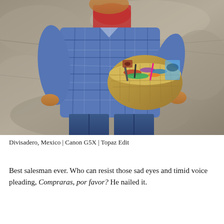[Figure (photo): A young boy wearing a blue plaid flannel shirt and jeans holds a large woven basket filled with colorful bracelets and accessories, standing in front of a rocky stone background.]
Divisadero, Mexico | Canon G5X | Topaz Edit
Best salesman ever. Who can resist those sad eyes and timid voice pleading, Compraras, por favor? He nailed it.